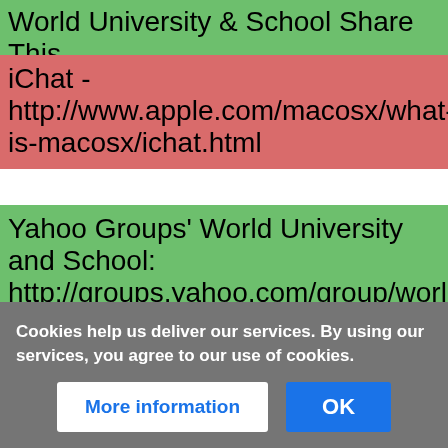World University & School Share This
iChat - http://www.apple.com/macosx/what-is-macosx/ichat.html
Yahoo Groups' World University and School: http://groups.yahoo.com/group/worlduniversityandschool/
Skype - http://www.skype.com/
===Linked Open Data===
Anonymous user
203.90.235.7
Cookies help us deliver our services. By using our services, you agree to our use of cookies.